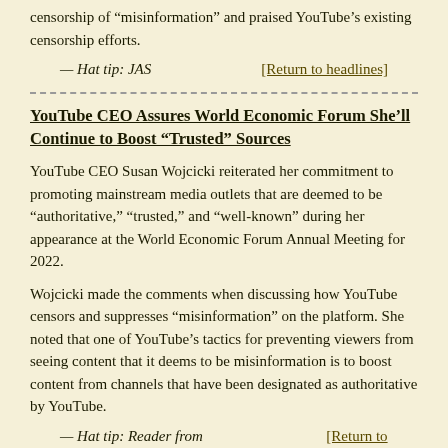censorship of “misinformation” and praised YouTube’s existing censorship efforts.
— Hat tip: JAS    [Return to headlines]
YouTube CEO Assures World Economic Forum She’ll Continue to Boost “Trusted” Sources
YouTube CEO Susan Wojcicki reiterated her commitment to promoting mainstream media outlets that are deemed to be “authoritative,” “trusted,” and “well-known” during her appearance at the World Economic Forum Annual Meeting for 2022.
Wojcicki made the comments when discussing how YouTube censors and suppresses “misinformation” on the platform. She noted that one of YouTube’s tactics for preventing viewers from seeing content that it deems to be misinformation is to boost content from channels that have been designated as authoritative by YouTube.
— Hat tip: Reader from Chicago    [Return to headlines]